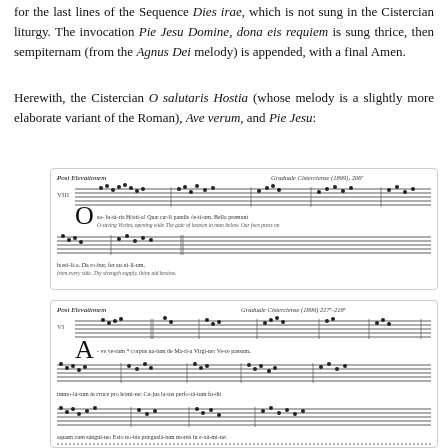for the last lines of the Sequence Dies irae, which is not sung in the Cistercian liturgy. The invocation Pie Jesu Domine, dona eis requiem is sung thrice, then sempiternam (from the Agnus Dei melody) is appended, with a final Amen.
Herewith, the Cistercian O salutaris Hostia (whose melody is a slightly more elaborate variant of the Roman), Ave verum, and Pie Jesu:
[Figure (other): Musical score of Cistercian O salutaris Hostia, labeled 'Post Elevationem' and 'Graduale Cisterciense (1899), 206', mode VIII, with neumes on staff and Latin lyrics with English translation below.]
[Figure (other): Musical score of Cistercian Ave verum, labeled 'Post Elevationem' and 'Graduale Cisterciense (1899) 217-218', mode VI, with neumes on staff and Latin lyrics.]